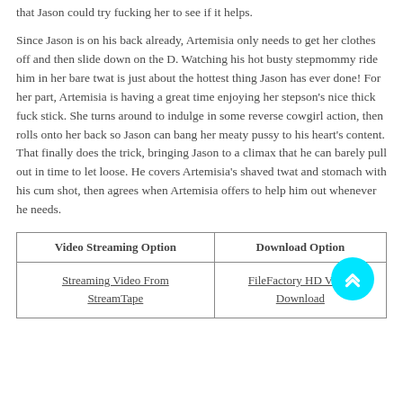that Jason could try fucking her to see if it helps.
Since Jason is on his back already, Artemisia only needs to get her clothes off and then slide down on the D. Watching his hot busty stepmommy ride him in her bare twat is just about the hottest thing Jason has ever done! For her part, Artemisia is having a great time enjoying her stepson’s nice thick fuck stick. She turns around to indulge in some reverse cowgirl action, then rolls onto her back so Jason can bang her meaty pussy to his heart’s content. That finally does the trick, bringing Jason to a climax that he can barely pull out in time to let loose. He covers Artemisia’s shaved twat and stomach with his cum shot, then agrees when Artemisia offers to help him out whenever he needs.
| Video Streaming Option | Download Option |
| --- | --- |
| Streaming Video From StreamTape | FileFactory HD Video Download |